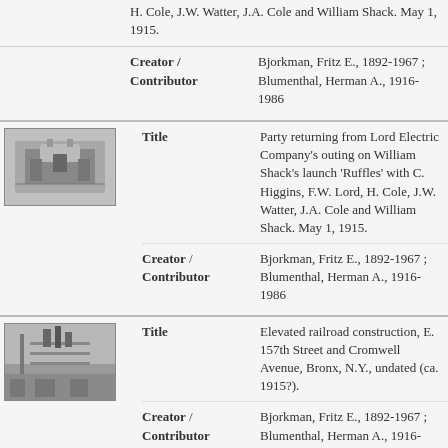H. Cole, J.W. Watter, J.A. Cole and William Shack. May 1, 1915.
Creator / Contributor: Bjorkman, Fritz E., 1892-1967 ; Blumenthal, Herman A., 1916-1986
[Figure (photo): Black and white photograph of a boat or launch on water]
Title: Party returning from Lord Electric Company's outing on William Shack's launch 'Ruffles' with C. Higgins, F.W. Lord, H. Cole, J.W. Watter, J.A. Cole and William Shack. May 1, 1915.
Creator / Contributor: Bjorkman, Fritz E., 1892-1967 ; Blumenthal, Herman A., 1916-1986
[Figure (photo): Black and white photograph of elevated railroad construction]
Title: Elevated railroad construction, E. 157th Street and Cromwell Avenue, Bronx, N.Y., undated (ca. 1915?).
Creator / Contributor: Bjorkman, Fritz E., 1892-1967 ; Blumenthal, Herman A., 1916-1986
[Figure (photo): Black and white photograph, lower dam Bronx Park]
Title: Lower dam, Bronx Park, N.Y., undated (ca.